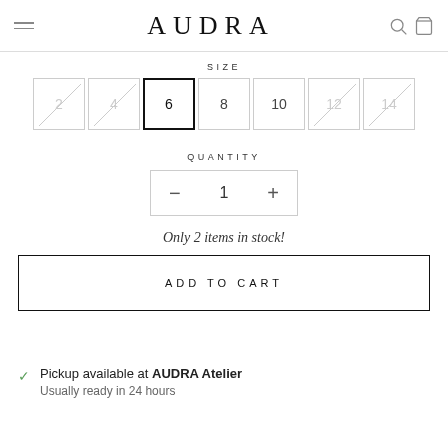AUDRA
SIZE
2 4 6 8 10 12 14 (size selector, size 6 selected, 2/4/12/14 unavailable)
QUANTITY
- 1 +
Only 2 items in stock!
ADD TO CART
Pickup available at AUDRA Atelier
Usually ready in 24 hours